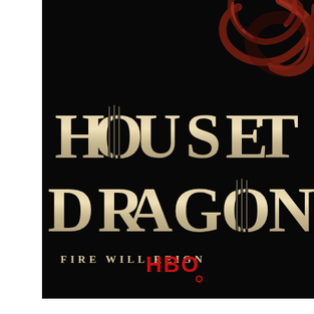[Figure (illustration): House of the Dragon HBO promotional poster cropped. Dark black background with a red/copper dragon tail swirling at the top. Large decorative serif text reads 'HOUSE THE DRAGON' in gold/silver metallic letters with triple vertical bar motif in the O and N characters. Tagline 'FIRE WILL REIGN' in spaced gold caps beneath the title. HBO logo in red at the bottom.]